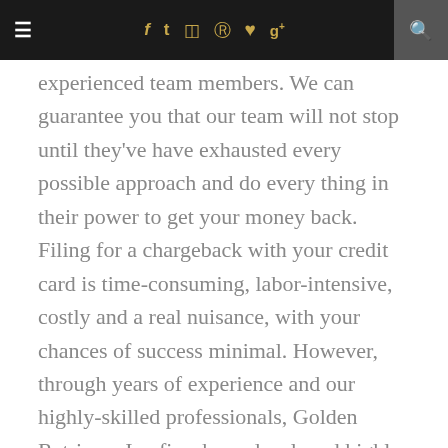≡  f  t  ☷  ℗  ♥  g+  🔍
experienced team members. We can guarantee you that our team will not stop until they've have exhausted every possible approach and do every thing in their power to get your money back. Filing for a chargeback with your credit card is time-consuming, labor-intensive, costly and a real nuisance, with your chances of success minimal. However, through years of experience and our highly-skilled professionals, Golden Retriever Inc firm have developed highly effective